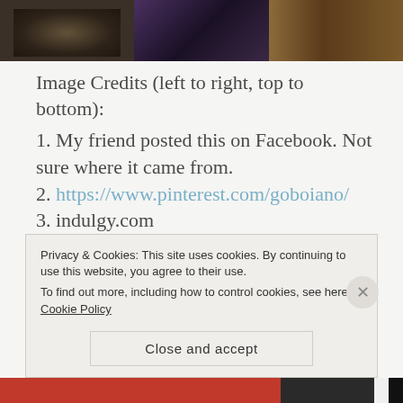[Figure (photo): Three images at the top: dark forest/butterfly scene, purple-toned figure, brown fur/feathers scene]
Image Credits (left to right, top to bottom):
1. My friend posted this on Facebook. Not sure where it came from.
2. https://www.pinterest.com/goboiano/
3. indulgy.com
4. Tidewater by Wildweasel339 on deviantART
5. oideyasu.tumblr.com
6.
Privacy & Cookies: This site uses cookies. By continuing to use this website, you agree to their use.
To find out more, including how to control cookies, see here: Cookie Policy
Close and accept